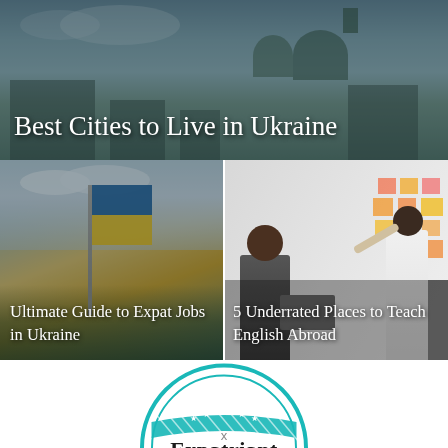[Figure (photo): Aerial cityscape of Ukraine with buildings, domes and churches, dark overlay. Title 'Best Cities to Live in Ukraine' overlaid in white serif text.]
Best Cities to Live in Ukraine
[Figure (photo): Person holding Ukrainian flag against sky and forest background. Caption: 'Ultimate Guide to Expat Jobs in Ukraine']
Ultimate Guide to Expat Jobs in Ukraine
[Figure (photo): Office scene with person pointing at sticky notes on wall, colleagues watching. Caption: '5 Underrated Places to Teach English Abroad']
5 Underrated Places to Teach English Abroad
[Figure (logo): Expatriant Going Abroad circular teal logo with star decorations and diagonal stripe pattern.]